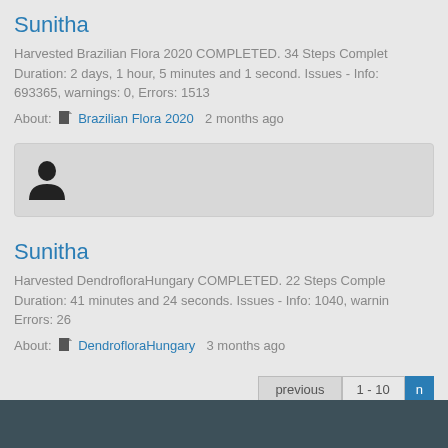Sunitha
Harvested Brazilian Flora 2020 COMPLETED. 34 Steps Completed. Duration: 2 days, 1 hour, 5 minutes and 1 second. Issues - Info: 693365, warnings: 0, Errors: 1513
About: Brazilian Flora 2020  2 months ago
[Figure (other): User avatar placeholder icon]
Sunitha
Harvested DendrofloraHungary COMPLETED. 22 Steps Completed. Duration: 41 minutes and 24 seconds. Issues - Info: 1040, warnings: ... Errors: 26
About: DendrofloraHungary  3 months ago
previous  1 - 10  n